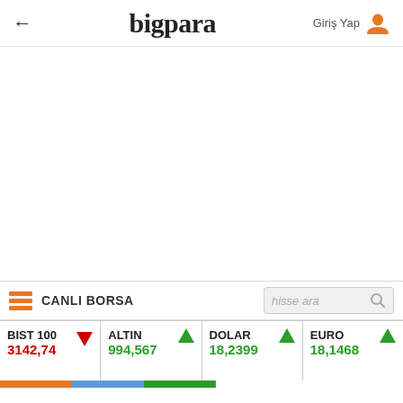← bigpara  Giriş Yap
CANLI BORSA  hisse ara
| BIST 100 | ALTIN | DOLAR | EURO |
| --- | --- | --- | --- |
| 3142,74 ▼ | 994,567 ▲ | 18,2399 ▲ | 18,1468 ▲ |